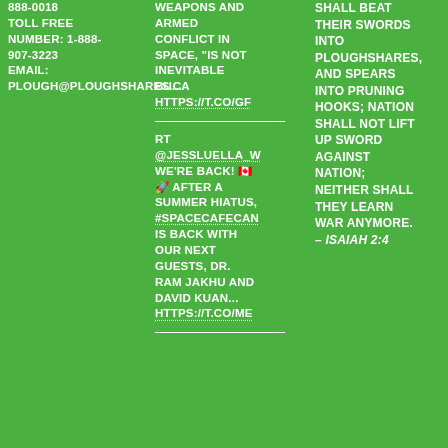888-0018 TOLL FREE NUMBER: 1-888-907-3223 EMAIL: PLOUGH@PLOUGHSHARES.CA
WEAPONS AND ARMED CONFLICT IN SPACE, "IS NOT INEVITABLE BU... HTTPS://T.CO/GF
RT @JESSLUELLA_W WE'RE BACK! 🇨🇦 🚀 AFTER A SUMMER HIATUS, #SPACECAFECAN IS BACK WITH OUR NEXT GUESTS, DR. RAM JAKHU AND DAVID KUAN... HTTPS://T.CO/ME
SHALL BEAT THEIR SWORDS INTO PLOUGHSHARES, AND SPEARS INTO PRUNING HOOKS; NATION SHALL NOT LIFT UP SWORD AGAINST NATION; NEITHER SHALL THEY LEARN WAR ANYMORE. – ISAIAH 2:4